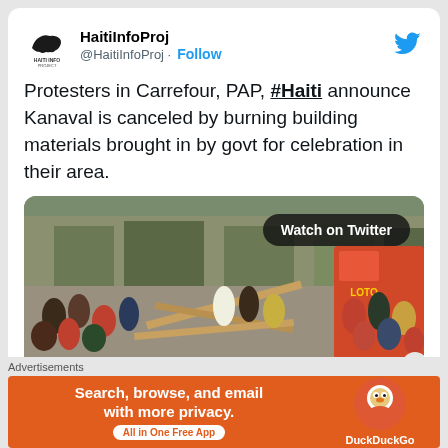HaitiInfoProj @HaitiInfoProj · Follow
Protesters in Carrefour, PAP, #Haiti announce Kanaval is canceled by burning building materials brought in by govt for celebration in their area.
[Figure (screenshot): Video thumbnail showing protesters in a street scene with lumber/building materials. A 'Watch on Twitter' button is overlaid in the top right.]
Advertisements
[Figure (infographic): DuckDuckGo advertisement banner: 'Search, browse, and email with more privacy. All in One Free App' with DuckDuckGo logo on right.]